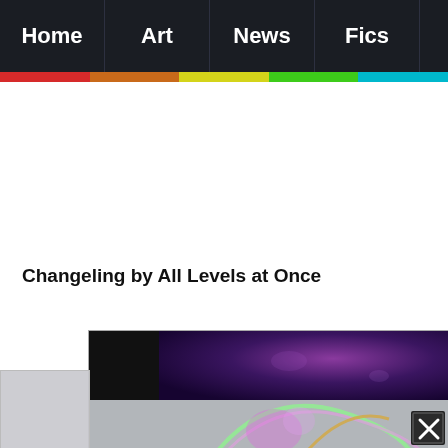Home | Art | News | Fics
Changeling by All Levels at Once
[Figure (illustration): Partial view of digital fan artwork showing a glowing character with green and pink hues against a dark purple background, partially overlaid with a gray panel and a close/dismiss button (X) in the bottom-right corner.]